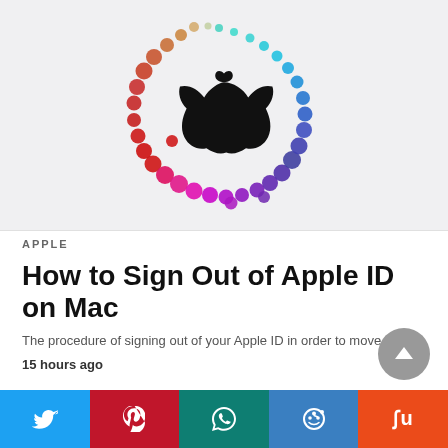[Figure (illustration): Apple logo centered within a colorful ring of dots arranged in an open circle shape. Dots transition through colors: orange/tan at top-left, blue/teal at top-right, red/pink at bottom-left, purple/magenta at bottom-right. Background is light gray.]
APPLE
How to Sign Out of Apple ID on Mac
The procedure of signing out of your Apple ID in order to move to a…
15 hours ago
[Figure (infographic): Social media sharing bar with five buttons: Twitter (blue), Pinterest (red), WhatsApp (teal), Reddit (blue), StumbleUpon (orange-red)]